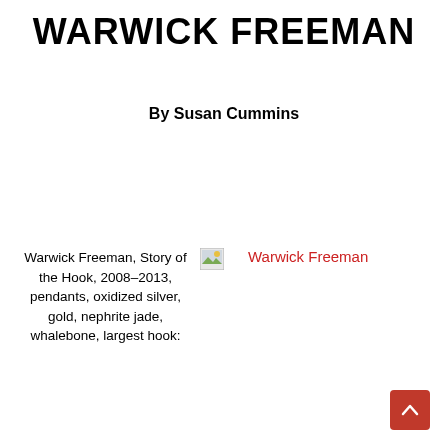WARWICK FREEMAN
By Susan Cummins
Warwick Freeman, Story of the Hook, 2008–2013, pendants, oxidized silver, gold, nephrite jade, whalebone, largest hook:
[Figure (photo): Broken image placeholder for a photo of Warwick Freeman artwork]
Warwick Freeman